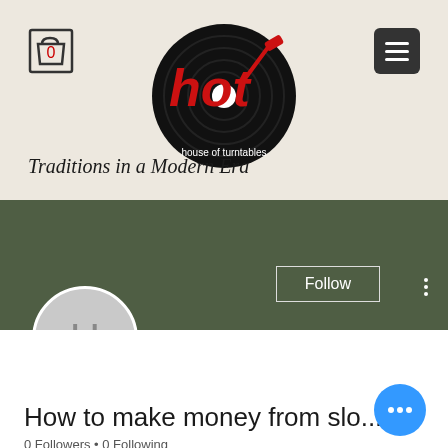[Figure (logo): House of Turntables logo — black vinyl record with red 'hot' text and tonearm, subtitle 'house of turntables' in white]
Traditions in a Modern Era
[Figure (screenshot): Dark green profile banner with Follow button and three-dot menu; circular avatar with letter H]
How to make money from slo...
0 Followers • 0 Following